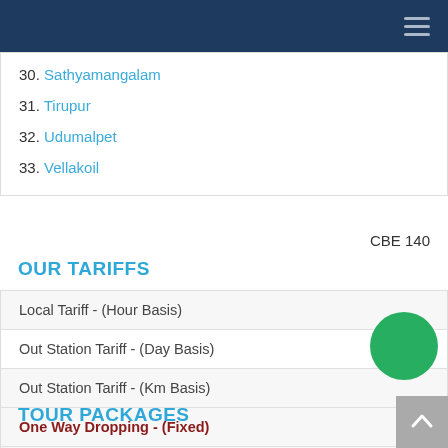Navigation header bar
30. Sathyamangalam
31. Tirupur
32. Udumalpet
33. Vellakoil
CBE 140
OUR TARIFFS
Local Tariff - (Hour Basis)
Out Station Tariff - (Day Basis)
Out Station Tariff - (Km Basis)
One Way Dropping - (Fixed)
One Way Dropping - (Km Basis)
Corporate Bookings
TOUR PACKAGES